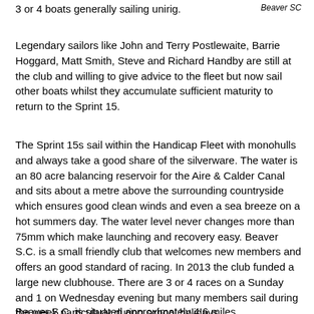Beaver SC
3 or 4 boats generally sailing unirig.
Legendary sailors like John and Terry Postlewaite, Barrie Hoggard, Matt Smith, Steve and Richard Handby are still at the club and willing to give advice to the fleet but now sail other boats whilst they accumulate sufficient maturity to return to the Sprint 15.
The Sprint 15s sail within the Handicap Fleet with monohulls and always take a good share of the silverware. The water is an 80 acre balancing reservoir for the Aire & Calder Canal and sits about a metre above the surrounding countryside which ensures good clean winds and even a sea breeze on a hot summers day. The water level never changes more than 75mm which make launching and recovery easy. Beaver S.C. is a small friendly club that welcomes new members and offers an good standard of racing. In 2013 the club funded a large new clubhouse. There are 3 or 4 races on a Sunday and 1 on Wednesday evening but many members sail during the week particularly during school holidays.
Beaver S.C. is situated approximately 4.6 miles